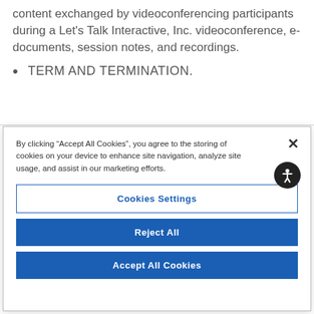content exchanged by videoconferencing participants during a Let's Talk Interactive, Inc. videoconference, e-documents, session notes, and recordings.
TERM AND TERMINATION.
By clicking “Accept All Cookies”, you agree to the storing of cookies on your device to enhance site navigation, analyze site usage, and assist in our marketing efforts.
Cookies Settings
Reject All
Accept All Cookies